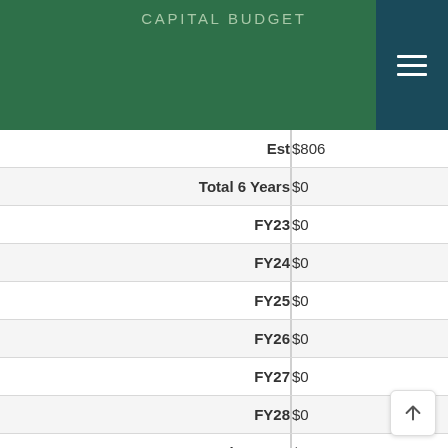CAPITAL BUDGET
| Label | Value |
| --- | --- |
| Est | $806 |
| Total 6 Years | $0 |
| FY23 | $0 |
| FY24 | $0 |
| FY25 | $0 |
| FY26 | $0 |
| FY27 | $0 |
| FY28 | $0 |
| Beyond 6 Years | $0 |